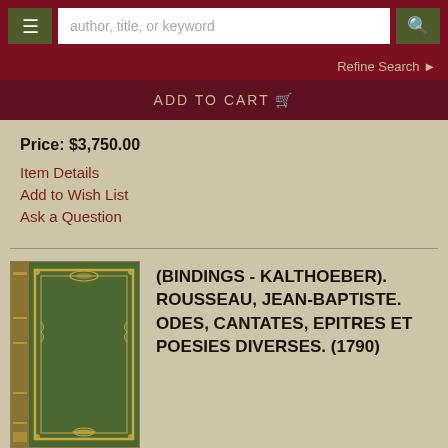author, title, or keyword [search bar with hamburger menu and search button]
Refine Search
ADD TO CART
Price: $3,750.00
Item Details
Add to Wish List
Ask a Question
[Figure (photo): Green leather bound book with ornate gold spine and decorative border on cover]
(BINDINGS - KALTHOEBER). ROUSSEAU, JEAN-BAPTISTE. ODES, CANTATES, EPITRES ET POESIES DIVERSES. (1790)